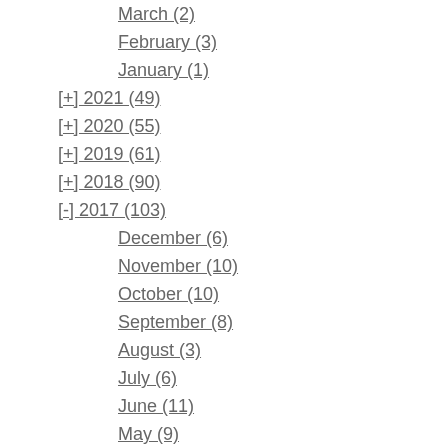March (2)
February (3)
January (1)
[+] 2021 (49)
[+] 2020 (55)
[+] 2019 (61)
[+] 2018 (90)
[-] 2017 (103)
December (6)
November (10)
October (10)
September (8)
August (3)
July (6)
June (11)
May (9)
April (8)
March (12)
February (11)